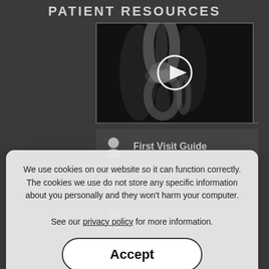PATIENT RESOURCES
[Figure (photo): X-ray image of a knee joint shown in grayscale with a white circular play button overlay in the center, indicating a video thumbnail.]
First Visit Guide
Patient Forms
Post-op Instructions
Insurance Information
We use cookies on our website so it can function correctly. The cookies we use do not store any specific information about you personally and they won't harm your computer. See our privacy policy for more information.
Accept